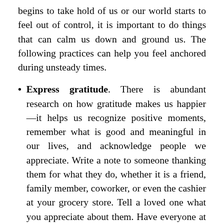begins to take hold of us or our world starts to feel out of control, it is important to do things that can calm us down and ground us. The following practices can help you feel anchored during unsteady times.
Express gratitude. There is abundant research on how gratitude makes us happier—it helps us recognize positive moments, remember what is good and meaningful in our lives, and acknowledge people we appreciate. Write a note to someone thanking them for what they do, whether it is a friend, family member, coworker, or even the cashier at your grocery store. Tell a loved one what you appreciate about them. Have everyone at your dinner table name something they feel grateful for today.
List the things that you control. Either in writing or in your head, start to keep a running list of the things that you have control over. When you...